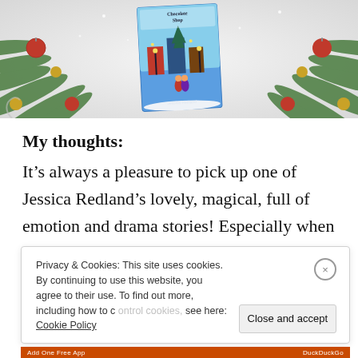[Figure (photo): Christmas-themed book cover flat lay photograph featuring a novel cover with a chocolate shop scene, surrounded by pine branches, red and gold baubles on a light background]
My thoughts:
It’s always a pleasure to pick up one of Jessica Redland’s lovely, magical, full of emotion and drama stories! Especially when
Privacy & Cookies: This site uses cookies. By continuing to use this website, you agree to their use. To find out more, including how to control cookies, see here: Cookie Policy